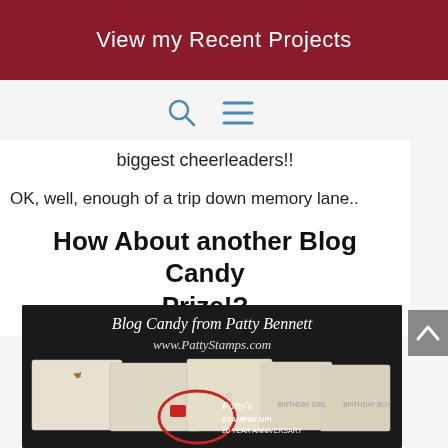View my Recent Projects
[Figure (other): Search magnifying glass icon and hamburger menu icon]
biggest cheerleaders!!
OK, well, enough of a trip down memory lane..
How About another Blog Candy Prize!?
[Figure (photo): Blog candy prize image showing multiple Stampin' Up stamp sets on a dark background with text: Blog Candy from Patty Bennett, www.PattyStamps.com, Patty's Stampin' Up! 20 Year Anniversary]